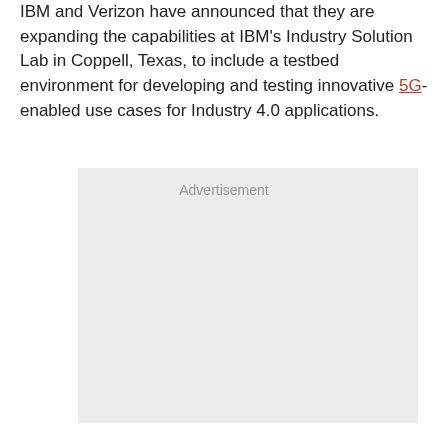IBM and Verizon have announced that they are expanding the capabilities at IBM's Industry Solution Lab in Coppell, Texas, to include a testbed environment for developing and testing innovative 5G-enabled use cases for Industry 4.0 applications.
[Figure (other): Advertisement placeholder box with light gray background and 'Advertisement' label text centered at the top.]